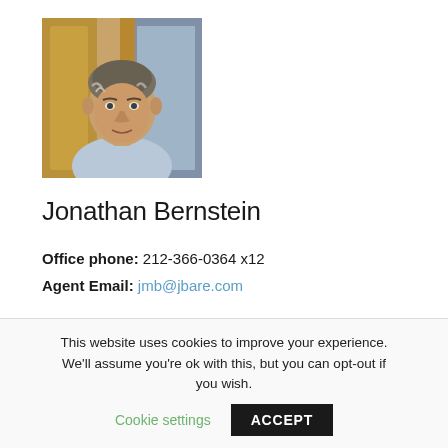[Figure (photo): Headshot of Jonathan Bernstein, a middle-aged man with gray-streaked hair wearing a light blue shirt, standing in front of a wooden door/window frame.]
Jonathan Bernstein
Office phone: 212-366-0364 x12
Agent Email: jmb@jbare.com
This website uses cookies to improve your experience. We'll assume you're ok with this, but you can opt-out if you wish.  Cookie settings  ACCEPT